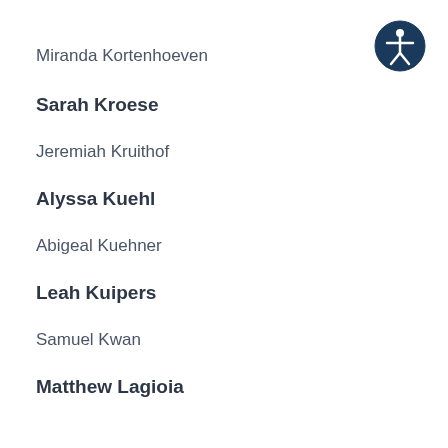Miranda Kortenhoeven
Sarah Kroese
Jeremiah Kruithof
Alyssa Kuehl
Abigeal Kuehner
Leah Kuipers
Samuel Kwan
Matthew Lagioia
[Figure (logo): Accessibility icon: blue circle with white figure of a person with arms outstretched]